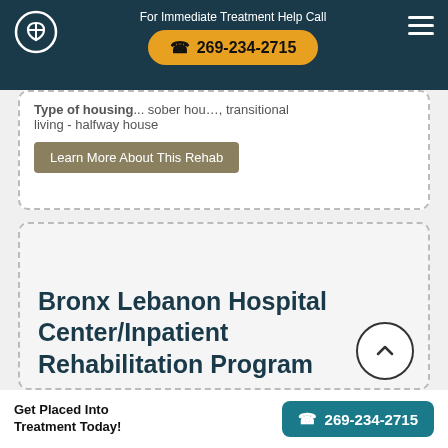For Immediate Treatment Help Call 269-234-2715
living - halfway house
Learn More About This Rehab
Bronx Lebanon Hospital Center/Inpatient Rehabilitation Program
Address: 1285 Fulton Avenue
Get Placed Into Treatment Today! 269-234-2715